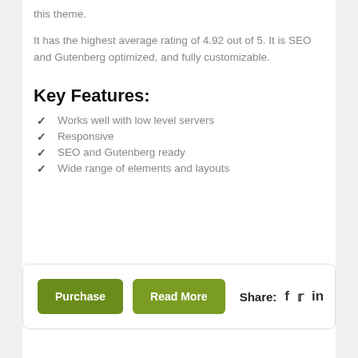this theme.
It has the highest average rating of 4.92 out of 5. It is SEO and Gutenberg optimized, and fully customizable.
Key Features:
Works well with low level servers
Responsive
SEO and Gutenberg ready
Wide range of elements and layouts